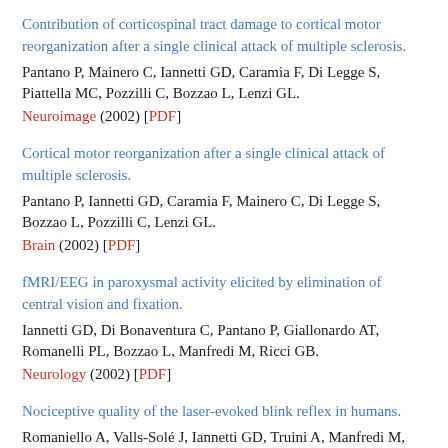Contribution of corticospinal tract damage to cortical motor reorganization after a single clinical attack of multiple sclerosis. Pantano P, Mainero C, Iannetti GD, Caramia F, Di Legge S, Piattella MC, Pozzilli C, Bozzao L, Lenzi GL. Neuroimage (2002) [PDF]
Cortical motor reorganization after a single clinical attack of multiple sclerosis. Pantano P, Iannetti GD, Caramia F, Mainero C, Di Legge S, Bozzao L, Pozzilli C, Lenzi GL. Brain (2002) [PDF]
fMRI/EEG in paroxysmal activity elicited by elimination of central vision and fixation. Iannetti GD, Di Bonaventura C, Pantano P, Giallonardo AT, Romanelli PL, Bozzao L, Manfredi M, Ricci GB. Neurology (2002) [PDF]
Nociceptive quality of the laser-evoked blink reflex in humans. Romaniello A, Valls-Solé J, Iannetti GD, Truini A, Manfredi M, Cruccu G.